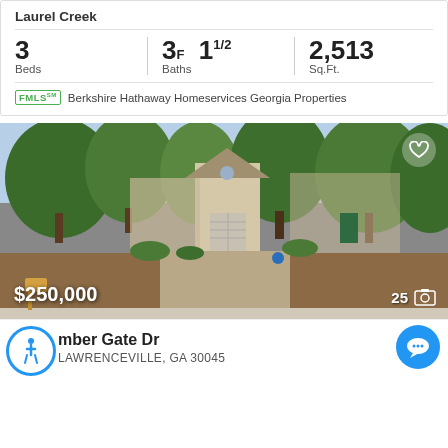Laurel Creek
| Beds | Baths | Sq.Ft. |
| --- | --- | --- |
| 3 | 3F  1½ | 2,513 |
FMLS — Berkshire Hathaway Homeservices Georgia Properties
[Figure (photo): Exterior photo of townhouse/house with trees, driveway, and garage. Price badge shows $250,000 with 25 photos indicator.]
mber Gate Dr
LAWRENCEVILLE, GA 30045